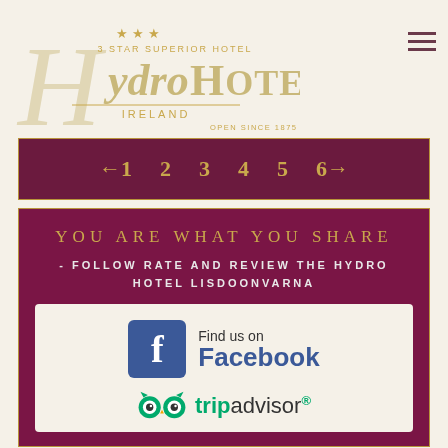[Figure (logo): Hydro Hotel Ireland logo with decorative script H, stars, '3 STAR SUPERIOR HOTEL', 'IRELAND', 'OPEN SINCE 1875' text in gold/beige tones]
[Figure (other): Hamburger menu icon (three horizontal dark red lines)]
[Figure (other): Pagination bar on dark maroon background with gold border showing left arrow, numbers 1-5, and right arrow with 6 highlighted]
YOU ARE WHAT YOU SHARE
- FOLLOW RATE AND REVIEW THE HYDRO HOTEL LISDOONVARNA
[Figure (other): Facebook 'Find us on Facebook' badge with blue Facebook icon]
[Figure (other): TripAdvisor logo with owl icon and tripadvisor text]